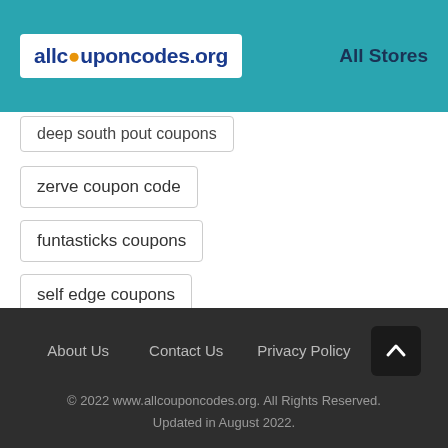allcouponcodes.org | All Stores
deep south pout coupons
zerve coupon code
funtasticks coupons
self edge coupons
About Us  Contact Us  Privacy Policy
© 2022 www.allcouponcodes.org. All Rights Reserved. Updated in August 2022.